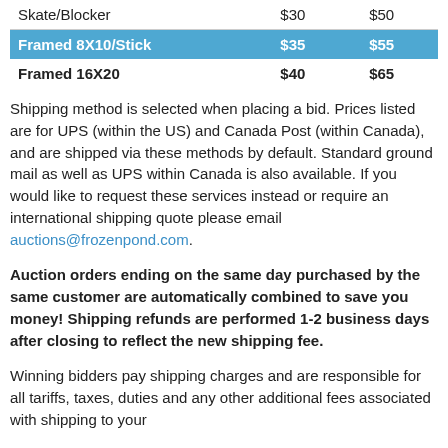|  |  |  |
| --- | --- | --- |
| Skate/Blocker | $30 | $50 |
| Framed 8X10/Stick | $35 | $55 |
| Framed 16X20 | $40 | $65 |
Shipping method is selected when placing a bid. Prices listed are for UPS (within the US) and Canada Post (within Canada), and are shipped via these methods by default. Standard ground mail as well as UPS within Canada is also available. If you would like to request these services instead or require an international shipping quote please email auctions@frozenpond.com.
Auction orders ending on the same day purchased by the same customer are automatically combined to save you money! Shipping refunds are performed 1-2 business days after closing to reflect the new shipping fee.
Winning bidders pay shipping charges and are responsible for all tariffs, taxes, duties and any other additional fees associated with shipping to your